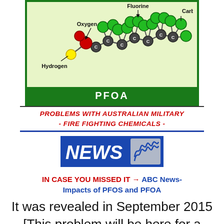[Figure (illustration): 3D molecular structure of PFOA (perfluorooctanoic acid) showing labeled atoms: Fluorine (green spheres), Carbon (dark grey spheres), Oxygen (red sphere), Hydrogen (yellow sphere), with a green border and green label bar reading PFOA]
PROBLEMS WITH AUSTRALIAN MILITARY - FIRE FIGHTING CHEMICALS -
[Figure (logo): ABC News logo: blue rectangle with white bold italic NEWS text and grey ABC squiggle symbol]
IN CASE YOU MISSED IT → ABC News- Impacts of PFOS and PFOA
It was revealed in September 2015 [This problem will be here for a